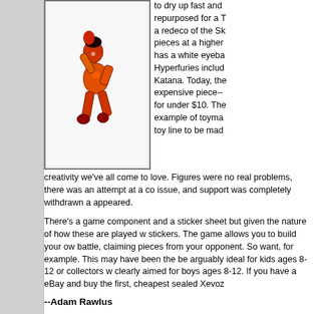[Figure (photo): Orange and red Xevoz action figure toy in a dynamic pose against a white background]
to dry up fast and repurposed for a T a redeco of the Sk pieces at a higher has a white eyeba Hyperfuries includ Katana. Today, the expensive piece-- for under $10. The example of toyma toy line to be mad creativity we've all come to love. Figures were no real problems, there was an attempt at a co issue, and support was completely withdrawn a appeared.
There's a game component and a sticker sheet but given the nature of how these are played w stickers. The game allows you to build your ow battle, claiming pieces from your opponent. So want, for example. This may have been the be arguably ideal for kids ages 8-12 or collectors w clearly aimed for boys ages 8-12. If you have a eBay and buy the first, cheapest sealed Xevoz
--Adam Rawlus